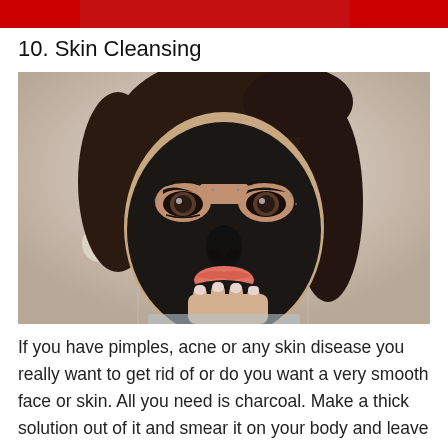10. Skin Cleansing
[Figure (photo): A woman with dark hair wearing a black charcoal face mask covering most of her face, with her eyes and lips exposed. She is touching her chin with her hand showing light pink nails.]
If you have pimples, acne or any skin disease you really want to get rid of or do you want a very smooth face or skin. All you need is charcoal. Make a thick solution out of it and smear it on your body and leave it on for some hours